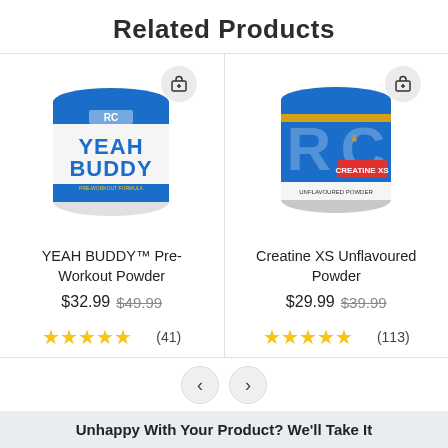Related Products
[Figure (photo): YEAH BUDDY Pre-Workout Powder product container - white tub with blue lid and bold blue/yellow text]
YEAH BUDDY™ Pre-Workout Powder
$32.99 $49.99
★★★★★ (41)
[Figure (photo): Creatine XS Unflavoured Powder product container - blue tub with RC logo and gold accent]
Creatine XS Unflavoured Powder
$29.99 $39.99
★★★★★ (113)
Unhappy With Your Product? We'll Take It